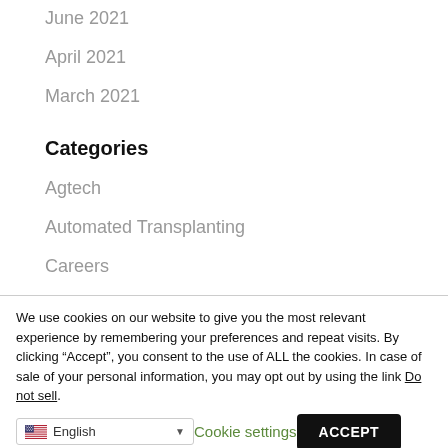June 2021
April 2021
March 2021
Categories
Agtech
Automated Transplanting
Careers
Lettuce transplanting
Media
We use cookies on our website to give you the most relevant experience by remembering your preferences and repeat visits. By clicking “Accept”, you consent to the use of ALL the cookies. In case of sale of your personal information, you may opt out by using the link Do not sell.